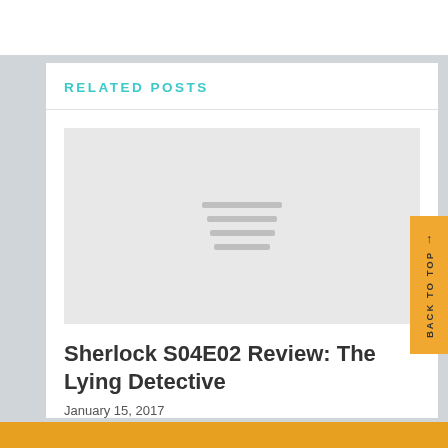RELATED POSTS
[Figure (illustration): Placeholder image area with gray background and three horizontal lines in the center representing a loading or placeholder graphic]
Sherlock S04E02 Review: The Lying Detective
January 15, 2017